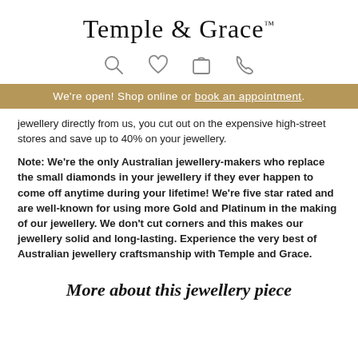Temple & Grace™
[Figure (illustration): Four icons in a row: magnifying glass (search), heart (wishlist), shopping bag (cart), telephone (contact)]
We're open! Shop online or book an appointment.
jewellery directly from us, you cut out on the expensive high-street stores and save up to 40% on your jewellery.
Note: We're the only Australian jewellery-makers who replace the small diamonds in your jewellery if they ever happen to come off anytime during your lifetime! We're five star rated and are well-known for using more Gold and Platinum in the making of our jewellery. We don't cut corners and this makes our jewellery solid and long-lasting. Experience the very best of Australian jewellery craftsmanship with Temple and Grace.
More about this jewellery piece